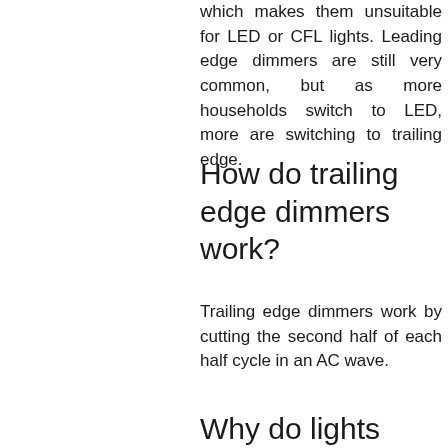which makes them unsuitable for LED or CFL lights. Leading edge dimmers are still very common, but as more households switch to LED, more are switching to trailing edge.
How do trailing edge dimmers work?
Trailing edge dimmers work by cutting the second half of each half cycle in an AC wave.
Why do lights buzz when dimmed?
This was a common issue with the old style leading edge dimmers and dimming either incandescent